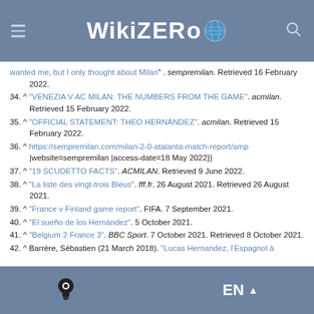WikiZero
wanted me, but I only thought about Milan". sempremilan. Retrieved 16 February 2022.
34. ^ "VENEZIA V AC MILAN: THE NUMBERS FROM THE GAME". acmilan. Retrieved 15 February 2022.
35. ^ "OFFICIAL STATEMENT: THEO HERNÁNDEZ". acmilan. Retrieved 15 February 2022.
36. ^ https://sempremilan.com/milan-2-0-atalanta-match-report/amp |website=sempremilan |access-date=18 May 2022}}
37. ^ "19 SCUDETTO FACTS". ACMILAN. Retrieved 9 June 2022.
38. ^ "La liste des vingt-trois Bleus". fff.fr. 26 August 2021. Retrieved 26 August 2021.
39. ^ "France v Finland game report". FIFA. 7 September 2021.
40. ^ "El sueño de los Hernández". 5 October 2021.
41. ^ "Belgium 2 France 3". BBC Sport. 7 October 2021. Retrieved 8 October 2021.
42. ^ Barrère, Sébastien (21 March 2018). "Lucas Hernandez, l'Espagnol à
EN